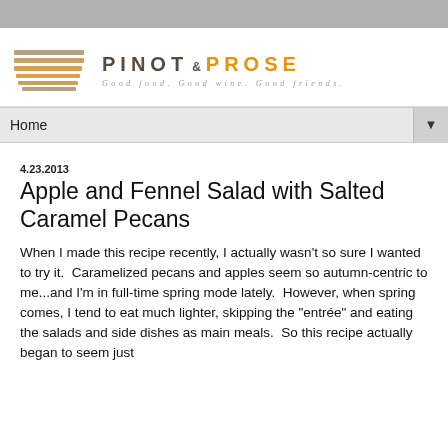[Figure (logo): Pinot and Prose logo with stacked lines icon and tagline 'Good food. Good wine. Good friends.']
Home
4.23.2013
Apple and Fennel Salad with Salted Caramel Pecans
When I made this recipe recently, I actually wasn't so sure I wanted to try it.  Caramelized pecans and apples seem so autumn-centric to me...and I'm in full-time spring mode lately.  However, when spring comes, I tend to eat much lighter, skipping the "entrée" and eating the salads and side dishes as main meals.  So this recipe actually began to seem just